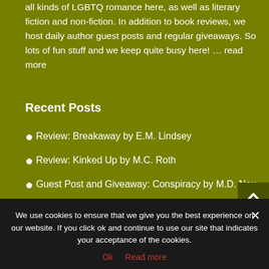all kinds of LGBTQ romance here, as well as literary fiction and non-fiction. In addition to book reviews, we host daily author guest posts and regular giveaways. So lots of fun stuff and we keep quite busy here! … read more
Recent Posts
Review: Breakaway by E.M. Lindsey
Review: Kinked Up by M.C. Roth
Guest Post and Giveaway: Conspiracy by M.D. Neu
Review: Blood and Dirt by Corey Niles
Review: The Oracle's Flame by Mell Eight
We use cookies to ensure that we give you the best experience on our website. If you click ok and continue to use our site that indicates your acceptance of the cookies.
Ok   Read more